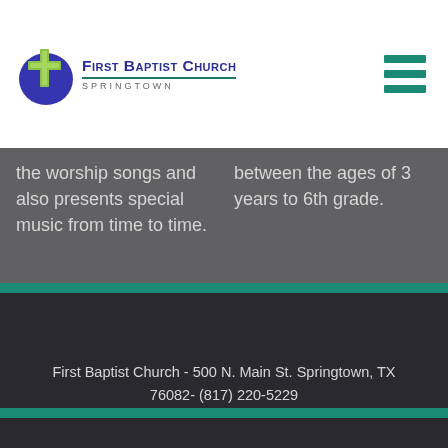First Baptist Church Springtown
the worship songs and also presents special music from time to time.
between the ages of 3 years to 6th grade.
First Baptist Church - 500 N. Main St. Springtown, TX 76082- (817) 220-5229